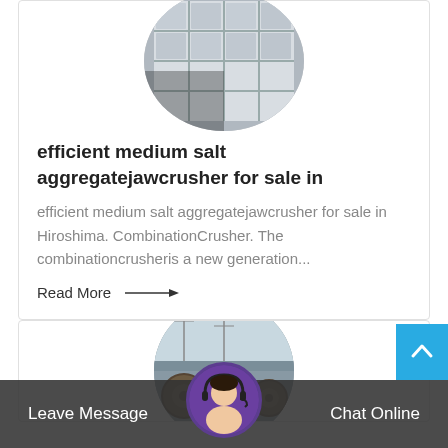[Figure (photo): Circular cropped photo of industrial jaw crusher machine parts (white metal structure with grid compartments), partially visible at top of card]
efficient medium salt aggregatejawcrusher for sale in
efficient medium salt aggregatejawcrusher for sale in Hiroshima. CombinationCrusher. The combinationcrusheris a new generation...
Read More →
[Figure (photo): Circular cropped photo of industrial cable reels and power towers in an outdoor setting, partially visible at bottom]
[Figure (photo): Customer service avatar - woman with headset, circular crop, purple border]
Leave Message
Chat Online